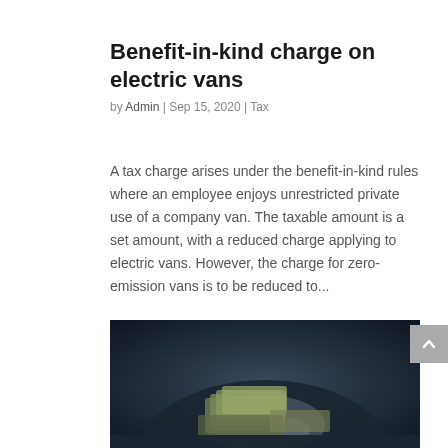Benefit-in-kind charge on electric vans
by Admin | Sep 15, 2020 | Tax
A tax charge arises under the benefit-in-kind rules where an employee enjoys unrestricted private use of a company van. The taxable amount is a set amount, with a reduced charge applying to electric vans. However, the charge for zero-emission vans is to be reduced to...
[Figure (photo): Person counting paper banknotes/money in their hands against a dark background]